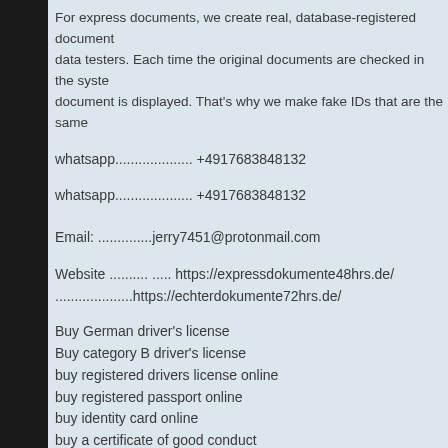For express documents, we create real, database-registered documents for data testers. Each time the original documents are checked in the system, the document is displayed. That's why we make fake IDs that are the same
whatsapp.................... +4917683848132
whatsapp.................... +4917683848132
Email: ..............jerry7451@protonmail.com
Website .......... ..... https://expressdokumente48hrs.de/ ....................https://echterdokumente72hrs.de/
Buy German driver's license
Buy category B driver's license
buy registered drivers license online
buy registered passport online
buy identity card online
buy a certificate of good conduct
buy swiss driving license online